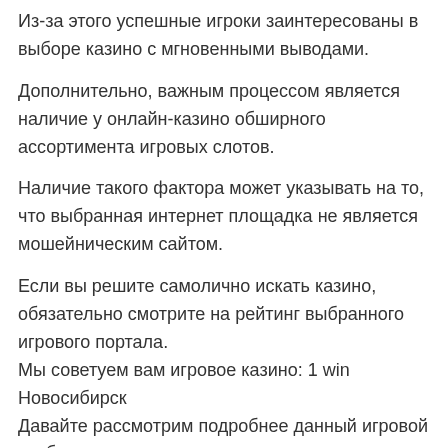Из-за этого успешные игроки заинтересованы в выборе казино с мгновенными выводами.
Дополнительно, важным процессом является наличие у онлайн-казино обширного ассортимента игровых слотов.
Наличие такого фактора может указывать на то, что выбранная интернет площадка не является мошейническим сайтом.
Если вы решите самолично искать казино, обязательно смотрите на рейтинг выбранного игрового портала. Мы советуем вам игровое казино: 1 win Новосибирск Давайте рассмотрим подробнее данный игровой клуб. Весомым приемуществом является наличие интегрированного функционала букмекерской конторы. огромный спектр бонусов, таких как бонус при первом депозите, дает возможность забрать солидный